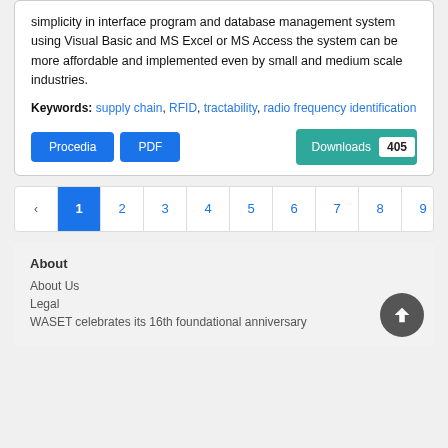simplicity in interface program and database management system using Visual Basic and MS Excel or MS Access the system can be more affordable and implemented even by small and medium scale industries.
Keywords: supply chain, RFID, tractability, radio frequency identification
Procedia   PDF   Downloads 405
‹ 1 2 3 4 5 6 7 8 9 10 ... 4
About
About Us
Legal
WASET celebrates its 16th foundational anniversary